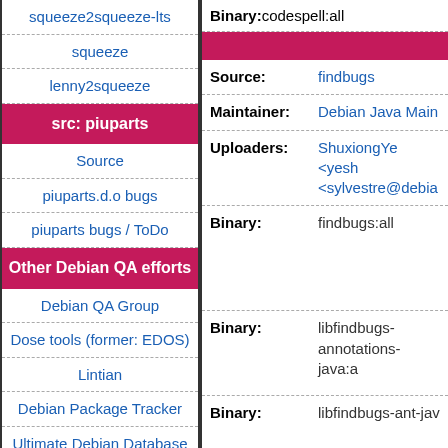squeeze2squeeze-lts
squeeze
lenny2squeeze
src: piuparts
Source
piuparts.d.o bugs
piuparts bugs / ToDo
Other Debian QA efforts
Debian QA Group
Dose tools (former: EDOS)
Lintian
Debian Package Tracker
Ultimate Debian Database
jenkins.debian.net
ci.debian.net
| Field | Value |
| --- | --- |
| Binary: | codespell:all |
| Source: | findbugs |
| Maintainer: | Debian Java Main... |
| Uploaders: | ShuxiongYe <yesh... <sylvestre@debia... |
| Binary: | findbugs:all |
| Binary: | libfindbugs-annotations-java:a... |
| Binary: | libfindbugs-ant-jav... |
| Binary: | libfindbugs-java:al... |